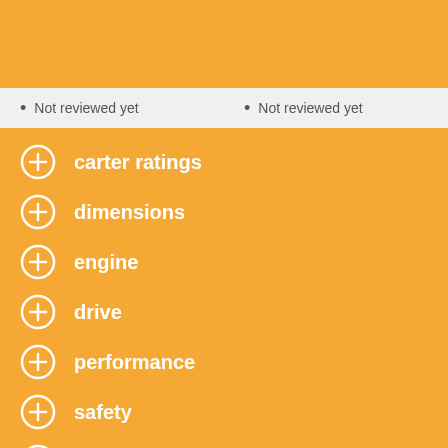Not reviewed yet
Not reviewed yet
carter ratings
dimensions
engine
drive
performance
safety
maintenance
environmental